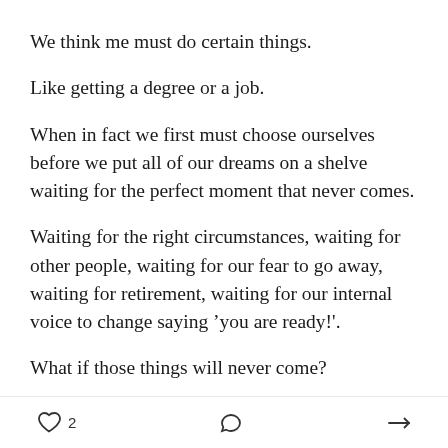We think me must do certain things.
Like getting a degree or a job.
When in fact we first must choose ourselves before we put all of our dreams on a shelve waiting for the perfect moment that never comes.
Waiting for the right circumstances, waiting for other people, waiting for our fear to go away, waiting for retirement, waiting for our internal voice to change saying “you are ready!’.
What if those things will never come?
What if you get to the end of life and realize you’ve been
2